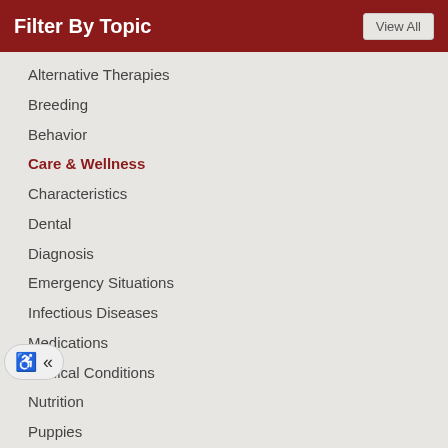Filter By Topic
Alternative Therapies
Breeding
Behavior
Care & Wellness
Characteristics
Dental
Diagnosis
Emergency Situations
Infectious Diseases
Medications
Medical Conditions
Nutrition
Puppies
Parasites
Treatment
Tumors
Others